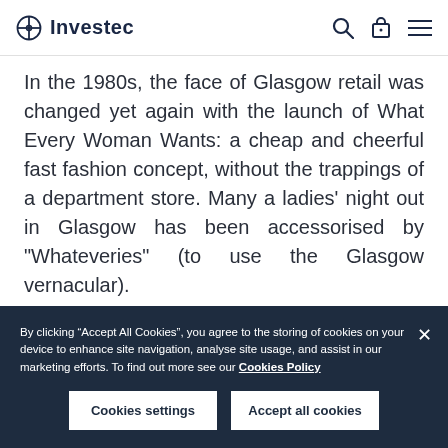Investec
In the 1980s, the face of Glasgow retail was changed yet again with the launch of What Every Woman Wants: a cheap and cheerful fast fashion concept, without the trappings of a department store. Many a ladies' night out in Glasgow has been accessorised by “Whateveries” (to use the Glasgow vernacular).
Retail in Glasgow today
By clicking “Accept All Cookies”, you agree to the storing of cookies on your device to enhance site navigation, analyse site usage, and assist in our marketing efforts. To find out more see our Cookies Policy